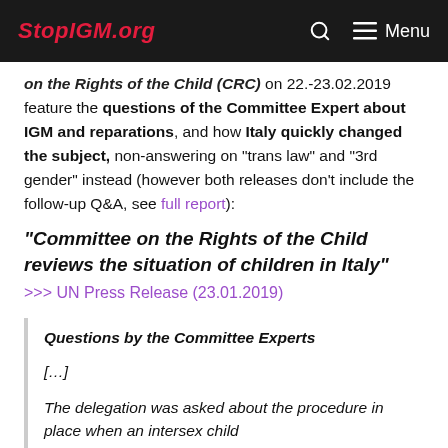StopIGM.org | Menu
on the Rights of the Child (CRC) on 22.-23.02.2019 feature the questions of the Committee Expert about IGM and reparations, and how Italy quickly changed the subject, non-answering on “trans law” and “3rd gender” instead (however both releases don’t include the follow-up Q&A, see full report):
“Committee on the Rights of the Child reviews the situation of children in Italy”
>>> UN Press Release (23.01.2019)
Questions by the Committee Experts

[...]

The delegation was asked about the procedure in place when an intersex child